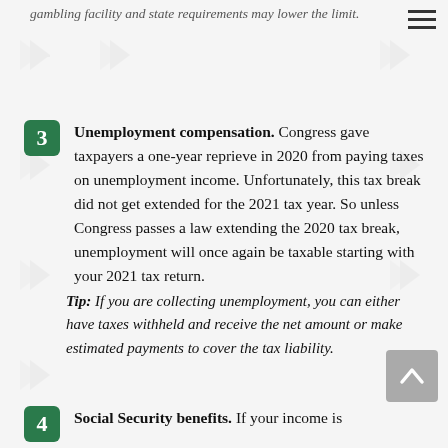gambling facility and state requirements may lower the limit.
Unemployment compensation. Congress gave taxpayers a one-year reprieve in 2020 from paying taxes on unemployment income. Unfortunately, this tax break did not get extended for the 2021 tax year. So unless Congress passes a law extending the 2020 tax break, unemployment will once again be taxable starting with your 2021 tax return.
Tip: If you are collecting unemployment, you can either have taxes withheld and receive the net amount or make estimated payments to cover the tax liability.
Social Security benefits. If your income is